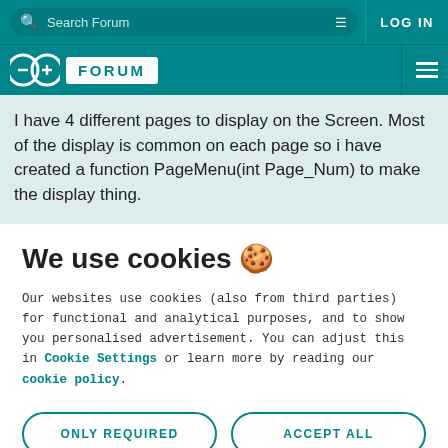Search Forum | LOG IN
FORUM
I have 4 different pages to display on the Screen. Most of the display is common on each page so i have created a function PageMenu(int Page_Num) to make the display thing.
We use cookies 🍪
Our websites use cookies (also from third parties) for functional and analytical purposes, and to show you personalised advertisement. You can adjust this in Cookie Settings or learn more by reading our cookie policy.
ONLY REQUIRED
ACCEPT ALL